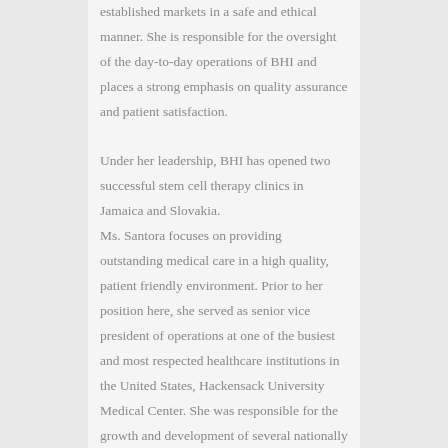technologies and therapies to emerging and established markets in a safe and ethical manner. She is responsible for the oversight of the day-to-day operations of BHI and places a strong emphasis on quality assurance and patient satisfaction.
Under her leadership, BHI has opened two successful stem cell therapy clinics in Jamaica and Slovakia.
Ms. Santora focuses on providing outstanding medical care in a high quality, patient friendly environment. Prior to her position here, she served as senior vice president of operations at one of the busiest and most respected healthcare institutions in the United States, Hackensack University Medical Center. She was responsible for the growth and development of several nationally and